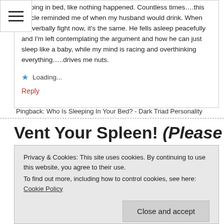sleeping in bed, like nothing happened. Countless times….this article reminded me of when my husband would drink. When we verbally fight now, it's the same. He fells asleep peacefully and I'm left contemplating the argument and how he can just sleep like a baby, while my mind is racing and overthinking everything…..drives me nuts.
Loading...
Reply
Pingback: Who Is Sleeping In Your Bed? - Dark Triad Personality
Vent Your Spleen! (Please see the
Privacy & Cookies: This site uses cookies. By continuing to use this website, you agree to their use. To find out more, including how to control cookies, see here: Cookie Policy
Close and accept